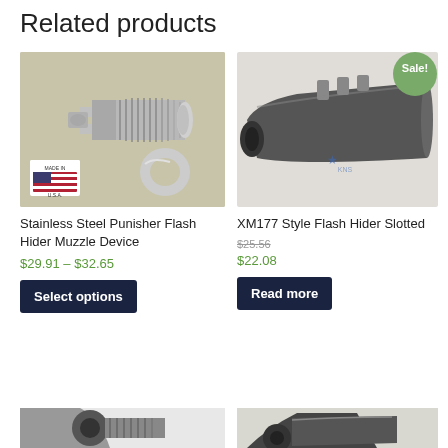Related products
[Figure (photo): Stainless steel punisher flash hider muzzle device with threaded barrel and washer, Made in USA badge visible]
Stainless Steel Punisher Flash Hider Muzzle Device
$29.91 – $32.65
Select options
[Figure (photo): XM177 style flash hider slotted - dark/black finish, elongated cone shape with slots, Sale badge visible]
XM177 Style Flash Hider Slotted
$25.56
$22.08
Read more
[Figure (photo): Partial product image at bottom left - partially visible]
[Figure (photo): Partial product image at bottom right - partially visible]